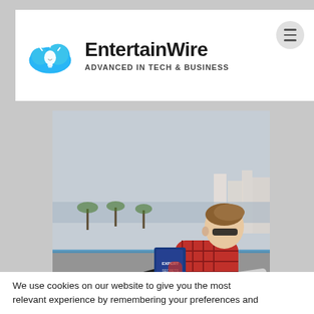EntertainWire — ADVANCED IN TECH & BUSINESS
[Figure (photo): A young man with sunglasses sitting on a lounge chair on a rooftop or terrace, holding a book titled 'Expert Secrets', with a coastal cityscape and palm trees in the background.]
We use cookies on our website to give you the most relevant experience by remembering your preferences and